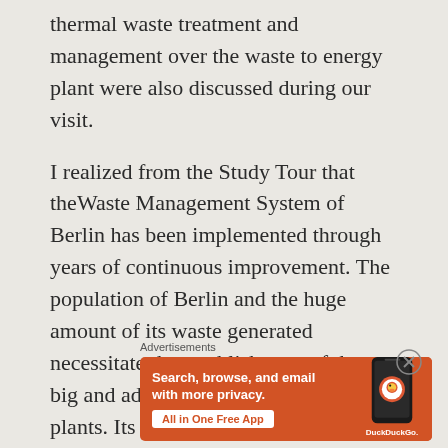thermal waste treatment and management over the waste to energy plant were also discussed during our visit.
I realized from the Study Tour that theWaste Management System of Berlin has been implemented through years of continuous improvement. The population of Berlin and the huge amount of its waste generated necessitate the establishment of these big and advance waste management plants. Its
Advertisements
[Figure (screenshot): DuckDuckGo advertisement banner on orange background with text 'Search, browse, and email with more privacy. All in One Free App' and a phone graphic with DuckDuckGo logo]